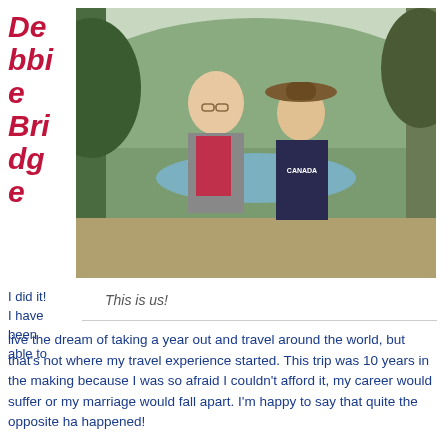Debbie Bridge
[Figure (photo): A man and a woman standing together outdoors in front of trees and mountains. The man is bald and wearing glasses and a grey fleece jacket over a red shirt. The woman is wearing a cowboy hat and a navy blue Canada hoodie. They are smiling at the camera.]
This is us!
I did it! I have been able to live the dream of taking a year out and travel around the world, but that's not where my travel experience started. This trip was 10 years in the making because I was so afraid I couldn't afford it, my career would suffer or my marriage would fall apart. I'm happy to say that quite the opposite has happened!